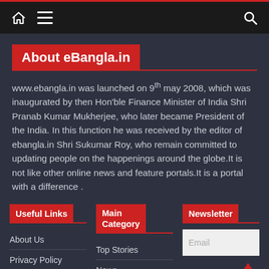eBangla.in navigation bar with home, menu, and search icons
About eBangla.in
www.ebangla.in was launched on 9th may 2008, which was inaugurated by then Hon'ble Finance Minister of India Shri Pranab Kumar Mukherjee, who later became President of the India. In this function he was received by the editor of ebangla.in Shri Sukumar Roy, who remain committed to updating people on the happenings around the globe.It is not like other online news and feature portals.It is a portal with a difference .
Useful Links
Main Category
Newsletter
About Us
Privacy Policy
Top Stories
News